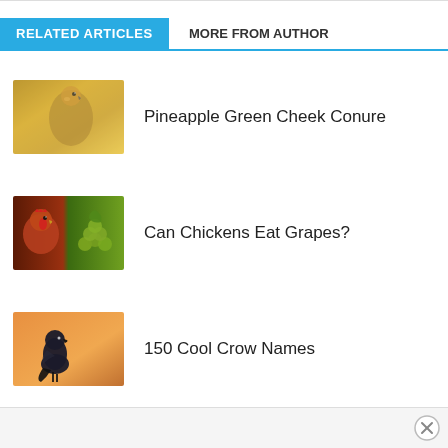RELATED ARTICLES
MORE FROM AUTHOR
[Figure (photo): A pineapple green cheek conure bird with yellow-green plumage, close-up photo]
Pineapple Green Cheek Conure
[Figure (photo): A brown chicken head on the left and a bunch of green grapes on the right]
Can Chickens Eat Grapes?
[Figure (photo): A black crow perched against an orange background]
150 Cool Crow Names